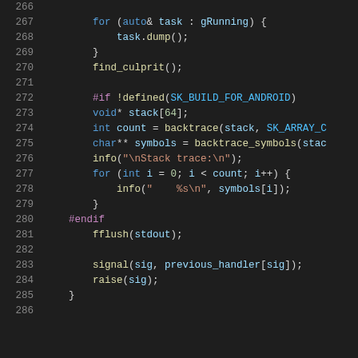[Figure (screenshot): Source code viewer showing C++ code lines 266–286 with syntax highlighting on dark background. Code includes a for-loop over gRunning tasks, find_culprit() call, preprocessor conditional for SK_BUILD_FOR_ANDROID with backtrace stack logic, fflush, signal handler reset, and raise.]